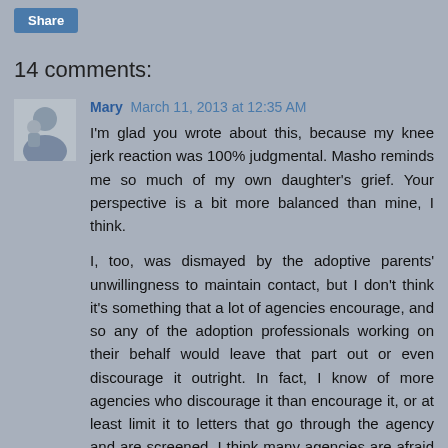Share
14 comments:
Mary  March 11, 2013 at 12:35 AM

I'm glad you wrote about this, because my knee jerk reaction was 100% judgmental. Masho reminds me so much of my own daughter's grief. Your perspective is a bit more balanced than mine, I think.

I, too, was dismayed by the adoptive parents' unwillingness to maintain contact, but I don't think it's something that a lot of agencies encourage, and so any of the adoption professionals working on their behalf would leave that part out or even discourage it outright. In fact, I know of more agencies who discourage it than encourage it, or at least limit it to letters that go through the agency and are screened. I think many agencies are afraid of what will happen when the two families are in touch.

The whole thing is shameful, really, with so much deceit